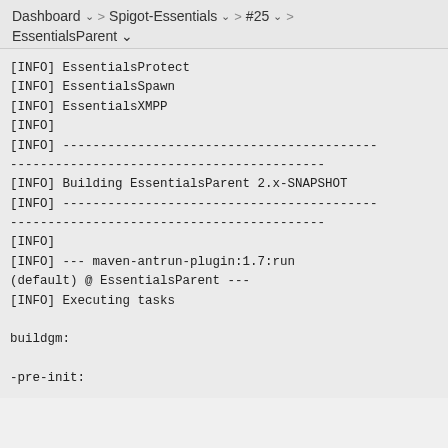Dashboard > Spigot-Essentials > #25 > EssentialsParent
[INFO] EssentialsProtect
[INFO] EssentialsSpawn
[INFO] EssentialsXMPP
[INFO]
[INFO] ------------------------------------------------------------------------
[INFO] Building EssentialsParent 2.x-SNAPSHOT
[INFO] ------------------------------------------------------------------------
[INFO]
[INFO] --- maven-antrun-plugin:1.7:run (default) @ EssentialsParent ---
[INFO] Executing tasks

buildgm:

-pre-init: